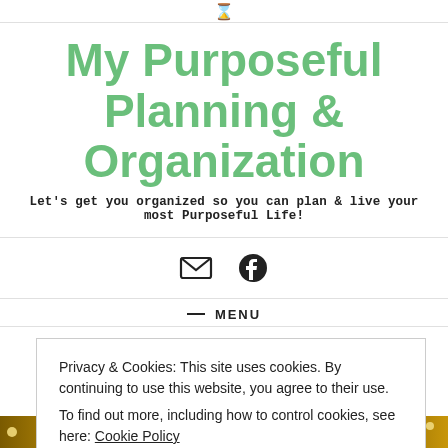My Purposeful Planning & Organization
Let's get you organized so you can plan & live your most Purposeful Life!
[Figure (infographic): Social media icons: envelope (email) and Facebook logo]
≡ MENU
Privacy & Cookies: This site uses cookies. By continuing to use this website, you agree to their use.
To find out more, including how to control cookies, see here: Cookie Policy
[Close and accept]
[Figure (photo): Gold glitter background strip at bottom of page]